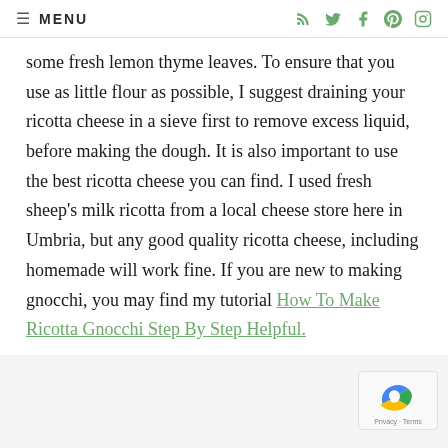≡ MENU
some fresh lemon thyme leaves. To ensure that you use as little flour as possible, I suggest draining your ricotta cheese in a sieve first to remove excess liquid, before making the dough. It is also important to use the best ricotta cheese you can find. I used fresh sheep's milk ricotta from a local cheese store here in Umbria, but any good quality ricotta cheese, including homemade will work fine. If you are new to making gnocchi, you may find my tutorial How To Make Ricotta Gnocchi Step By Step Helpful.